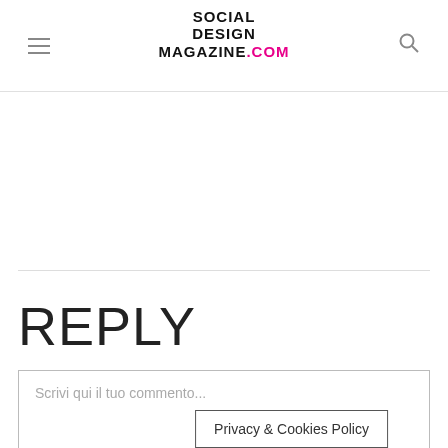SOCIAL DESIGN MAGAZINE.COM
REPLY
Scrivi qui il tuo commento...
Privacy & Cookies Policy